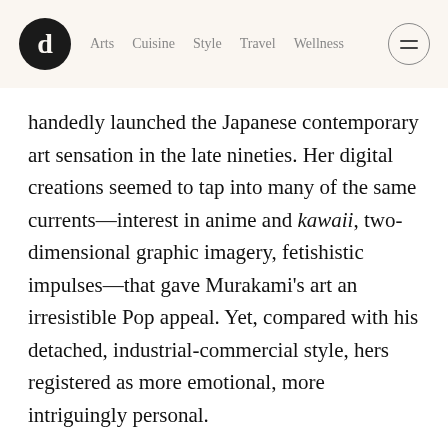Arts  Cuisine  Style  Travel  Wellness
handedly launched the Japanese contemporary art sensation in the late nineties. Her digital creations seemed to tap into many of the same currents—interest in anime and kawaii, two-dimensional graphic imagery, fetishistic impulses—that gave Murakami's art an irresistible Pop appeal. Yet, compared with his detached, industrial-commercial style, hers registered as more emotional, more intriguingly personal.
Soon Aoshima's work started cropping up more frequently: images of anthropomorphized mountains and buildings, fantastically lush landscapes, otherworldly dreamscapes,